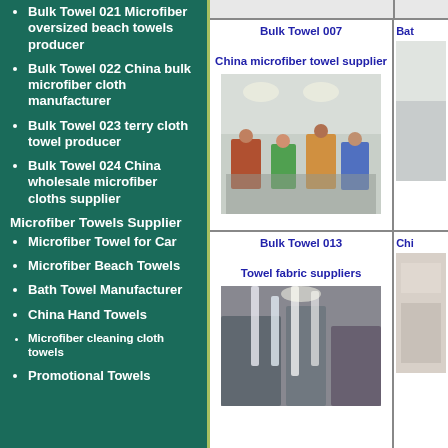Bulk Towel 021 Microfiber oversized beach towels producer
Bulk Towel 022 China bulk microfiber cloth manufacturer
Bulk Towel 023 terry cloth towel producer
Bulk Towel 024 China wholesale microfiber cloths supplier
Microfiber Towels Supplier
Microfiber Towel for Car
Microfiber Beach Towels
Bath Towel Manufacturer
China Hand Towels
Microfiber cleaning cloth towels
Promotional Towels
[Figure (photo): Bulk Towel 007 - China microfiber towel supplier - factory workers on production floor]
Bulk Towel 007
China microfiber towel supplier
[Figure (photo): Bat (partially visible) - right side card partial]
[Figure (photo): Bulk Towel 013 - Towel fabric suppliers - factory machinery]
Bulk Towel 013
Towel fabric suppliers
[Figure (photo): Chi (partially visible) - right side card partial]